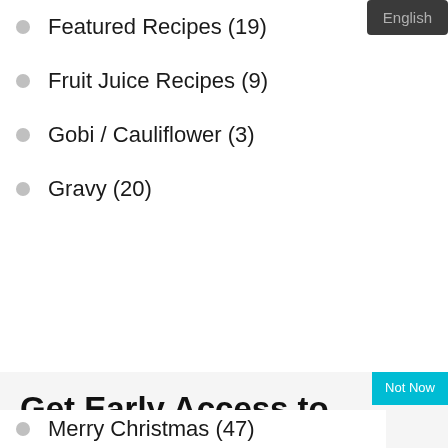Featured Recipes (19)
Fruit Juice Recipes (9)
Gobi / Cauliflower (3)
Gravy (20)
English
Get Early Access to Our Next Recipe
Subscribe to Our YouTube Channel
[Figure (logo): YouTube Subscribe button - red background with You in black/white and Tube in white on red box, then Subscribe in white text]
Merry Christmas (47)